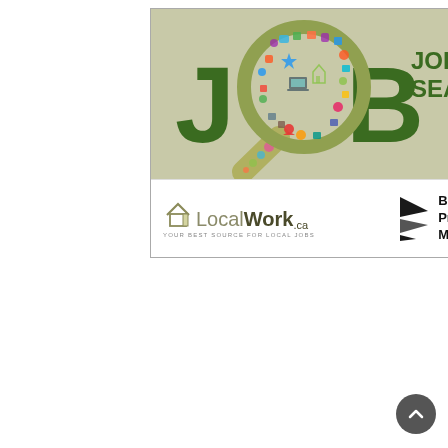[Figure (logo): Job Search advertisement banner featuring large green 'JOB' text with the O styled as a colorful magnifying glass filled with social/work icons, 'JOB SEARCH' text in green on top right, LocalWork.ca logo with house icon and tagline 'YOUR BEST SOURCE FOR LOCAL JOBS', and Black Press Media logo on the bottom section.]